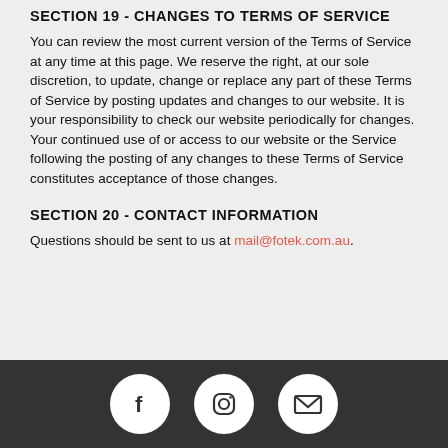SECTION 19 - CHANGES TO TERMS OF SERVICE
You can review the most current version of the Terms of Service at any time at this page. We reserve the right, at our sole discretion, to update, change or replace any part of these Terms of Service by posting updates and changes to our website. It is your responsibility to check our website periodically for changes. Your continued use of or access to our website or the Service following the posting of any changes to these Terms of Service constitutes acceptance of those changes.
SECTION 20 - CONTACT INFORMATION
Questions should be sent to us at mail@fotek.com.au.
[Figure (other): Footer with three social media icons: Facebook (f), Instagram (camera), and email (envelope) on a dark background]